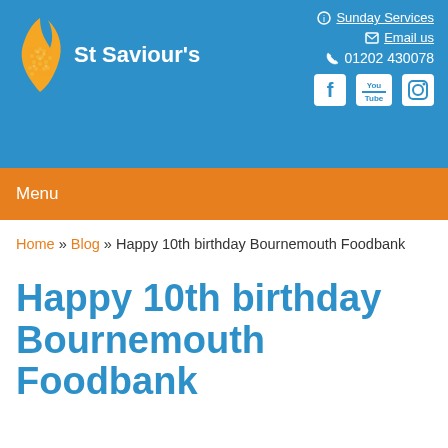[Figure (logo): St Saviour's church logo with flame icon and text, plus navigation links for Sunday Services, Email us, phone number, and social media icons for Facebook, YouTube, Instagram]
Menu
Home » Blog » Happy 10th birthday Bournemouth Foodbank
Happy 10th birthday Bournemouth Foodbank